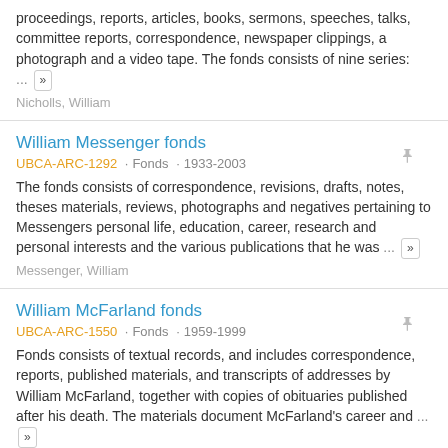proceedings, reports, articles, books, sermons, speeches, talks, committee reports, correspondence, newspaper clippings, a photograph and a video tape. The fonds consists of nine series: ... »
Nicholls, William
William Messenger fonds
UBCA-ARC-1292 · Fonds · 1933-2003
The fonds consists of correspondence, revisions, drafts, notes, theses materials, reviews, photographs and negatives pertaining to Messengers personal life, education, career, research and personal interests and the various publications that he was ... »
Messenger, William
William McFarland fonds
UBCA-ARC-1550 · Fonds · 1959-1999
Fonds consists of textual records, and includes correspondence, reports, published materials, and transcripts of addresses by William McFarland, together with copies of obituaries published after his death. The materials document McFarland's career and ... »